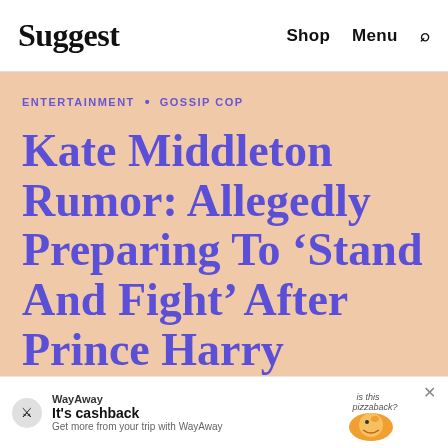Suggest  Shop  Menu
ENTERTAINMENT • GOSSIP COP
Kate Middleton Rumor: Allegedly Preparing To 'Stand And Fight' After Prince Harry Blindsided Her With B...
[Figure (other): WayAway advertisement banner: 'It's cashback - Get more from your trip with WayAway' with pizza hedgehog illustration]